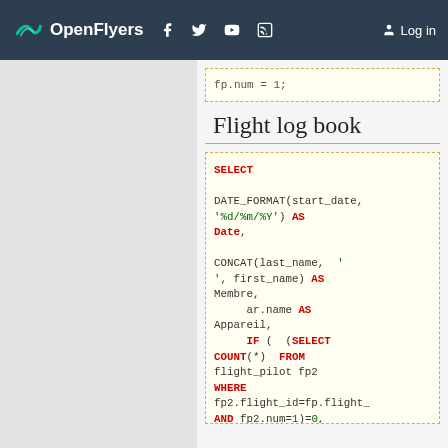OpenFlyers — Log in
fp.num = 1;
Flight log book